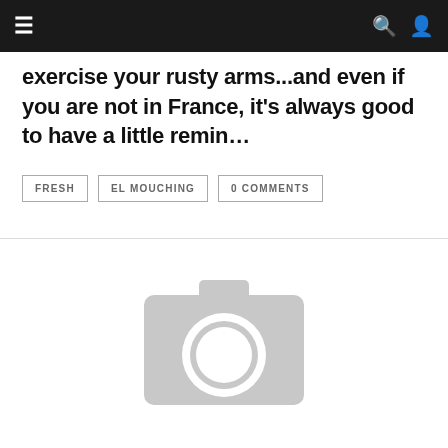≡  🔍  👤
exercise your rusty arms...and even if you are not in France, it's always good to have a little remin…
FRESH  EL MOUCHING  0 COMMENTS
[Figure (photo): Placeholder image showing a camera icon outline in light gray on white background]